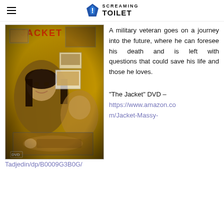SCREAMING TOILET
[Figure (photo): DVD cover of 'The Jacket' movie featuring distorted collage of faces including a woman with dark hair and a man, on a yellow-gold background with the word JACKET at top]
A military veteran goes on a journey into the future, where he can foresee his death and is left with questions that could save his life and those he loves.
“The Jacket” DVD – https://www.amazon.com/Jacket-Massy-Tadjedin/dp/B0009G3B0G/